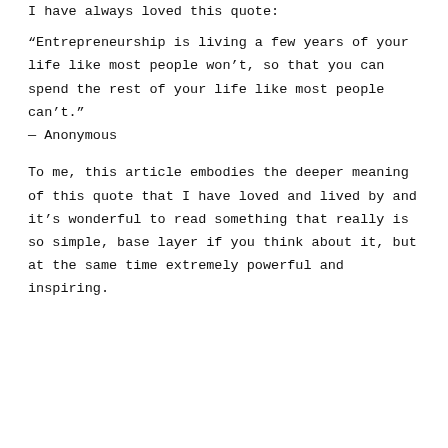I have always loved this quote:
“Entrepreneurship is living a few years of your life like most people won’t, so that you can spend the rest of your life like most people can’t.”
— Anonymous
To me, this article embodies the deeper meaning of this quote that I have loved and lived by and it’s wonderful to read something that really is so simple, base layer if you think about it, but at the same time extremely powerful and inspiring.